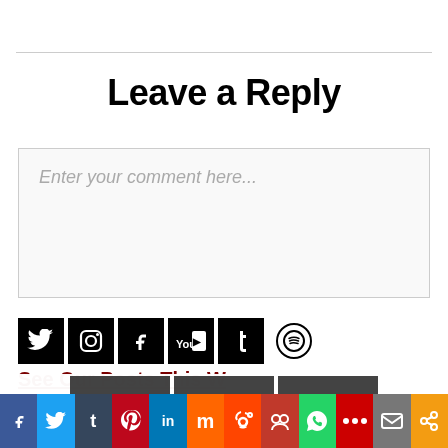Leave a Reply
[Figure (screenshot): Comment text input box with placeholder text 'Enter your comment here...']
[Figure (infographic): Row of social media icons: Twitter, Instagram, Facebook, YouTube, Tumblr (black squares), and Spotify (circle outline)]
See Our Posts This Week
This website uses cookies to improve your experience. We'll assume you're ok with this, but you can opt-out if you wish.
[Figure (infographic): Social sharing bar with colored buttons: Facebook, Twitter, Tumblr, Pinterest, LinkedIn, Mix, Reddit, BuddyPress, WhatsApp, MeWe, Email, Share]